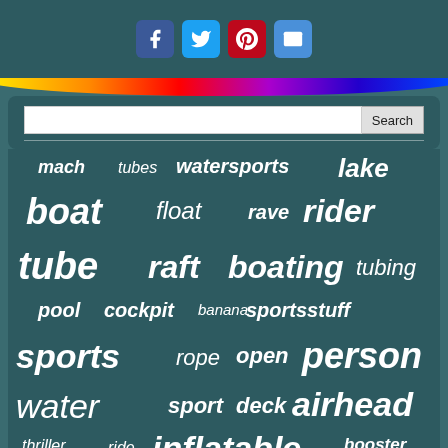[Figure (other): Social media share buttons: Facebook, Twitter, Pinterest, Email]
[Figure (other): Colorful rainbow arc/strip decoration]
[Figure (other): Search bar with text input and Search button]
[Figure (other): Word cloud / tag cloud with water sports related keywords on teal background: mach, tubes, watersports, lake, boat, float, rave, rider, tube, raft, boating, tubing, pool, cockpit, banana, sportsstuff, sports, rope, open, person, water, sport, deck, airhead, thriller, ride, inflatable, booster, riders, super, coupe, towable]